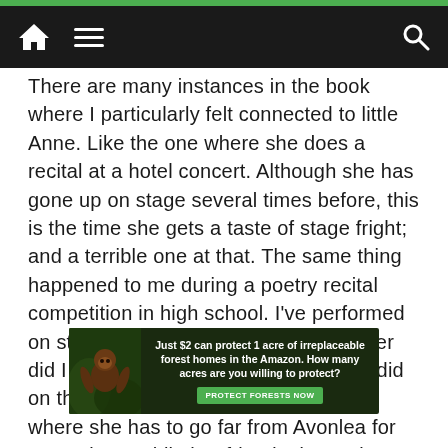Navigation bar with home, menu, and search icons
There are many instances in the book where I particularly felt connected to little Anne. Like the one where she does a recital at a hotel concert. Although she has gone up on stage several times before, this is the time she gets a taste of stage fright; and a terrible one at that. The same thing happened to me during a poetry recital competition in high school. I've performed on stage since the age of four and never did I find the stage as intimidating as I did on that day. There's this other situation where she has to go far from Avonlea for some time. While her friends don't miss
[Figure (infographic): Advertisement banner: dark forest background with orangutan image on left. Text reads 'Just $2 can protect 1 acre of irreplaceable forest homes in the Amazon. How many acres are you willing to protect?' with green 'PROTECT FORESTS NOW' button.]